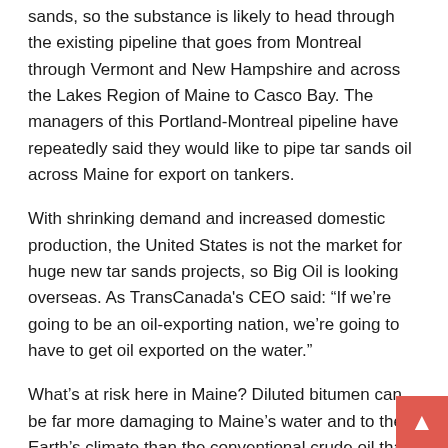sands, so the substance is likely to head through the existing pipeline that goes from Montreal through Vermont and New Hampshire and across the Lakes Region of Maine to Casco Bay. The managers of this Portland-Montreal pipeline have repeatedly said they would like to pipe tar sands oil across Maine for export on tankers.
With shrinking demand and increased domestic production, the United States is not the market for huge new tar sands projects, so Big Oil is looking overseas. As TransCanada's CEO said: “If we’re going to be an oil-exporting nation, we’re going to have to get oil exported on the water.”
What’s at risk here in Maine? Diluted bitumen can be far more damaging to Maine’s water and to the Earth’s climate than the conventional crude oil that has flowed through the Maine pipeline in the past. Who would be a good authority on this matter? How about the U.S. Environmental Protection Agency